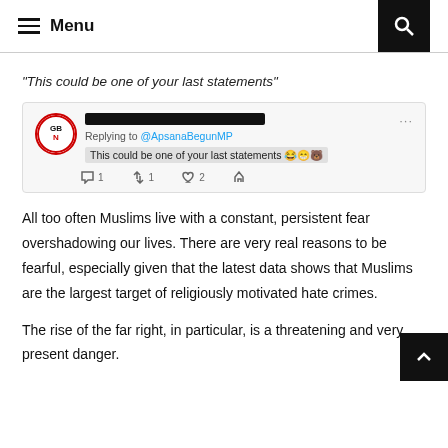Menu
“This could be one of your last statements”
[Figure (screenshot): Screenshot of a tweet replying to @ApsanaBegunMP from a GB News account (name redacted). Tweet text: 'This could be one of your last statements' followed by three laughing/smiling emojis. Shows 1 reply, 1 retweet, 2 likes.]
All too often Muslims live with a constant, persistent fear overshadowing our lives. There are very real reasons to be fearful, especially given that the latest data shows that Muslims are the largest target of religiously motivated hate crimes.
The rise of the far right, in particular, is a threatening and very present danger.